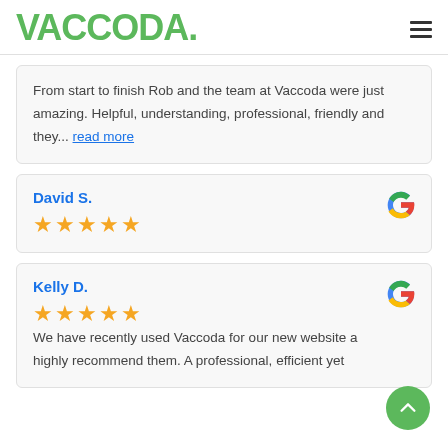VACCODA.
From start to finish Rob and the team at Vaccoda were just amazing. Helpful, understanding, professional, friendly and they... read more
David S.
★★★★★
Kelly D.
★★★★★
We have recently used Vaccoda for our new website a... highly recommend them. A professional, efficient yet